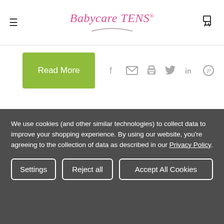Babycare TENS
[Figure (other): Read More green button with social share icons (Facebook, Email, Print, Twitter, LinkedIn, Pinterest)]
We use cookies (and other similar technologies) to collect data to improve your shopping experience. By using our website, you're agreeing to the collection of data as described in our Privacy Policy.
Settings | Reject all | Accept All Cookies